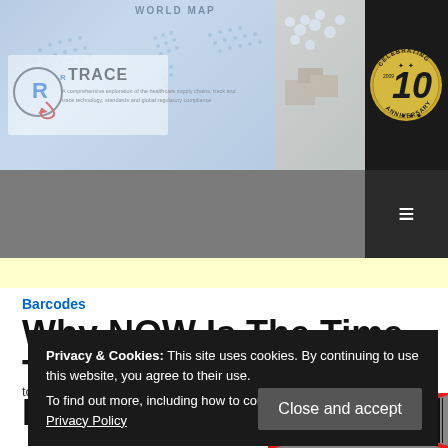[Figure (screenshot): RxTrace website header banner with world map background, logo, boxes and pharmaceutical products image, and 10th anniversary badge]
Barcodes
Why NOW Is The Time To Move Away From Linear Barcodes
Privacy & Cookies: This site uses cookies. By continuing to use this website, you agree to their use.
To find out more, including how to control cookies, see here: Our Privacy Policy
to move on to something else